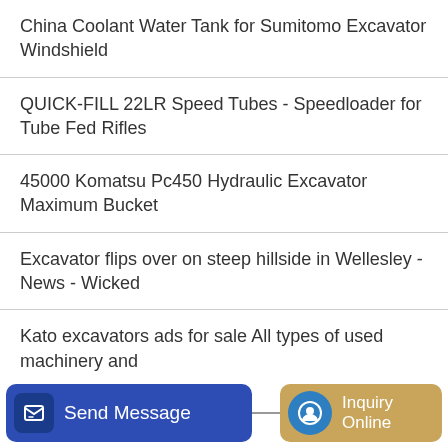China Coolant Water Tank for Sumitomo Excavator Windshield
QUICK-FILL 22LR Speed Tubes - Speedloader for Tube Fed Rifles
45000 Komatsu Pc450 Hydraulic Excavator Maximum Bucket
Excavator flips over on steep hillside in Wellesley - News - Wicked
Kato excavators ads for sale All types of used machinery and
Excavator press drill